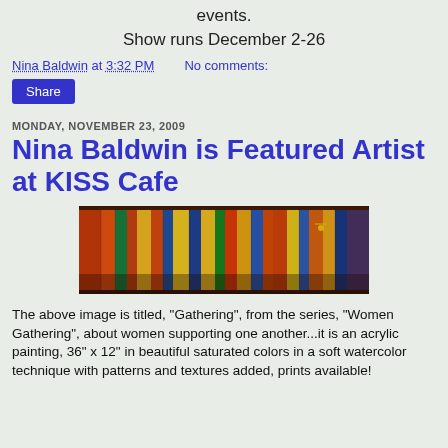events.
Show runs December 2-26
Nina Baldwin at 3:32 PM    No comments:
Share
MONDAY, NOVEMBER 23, 2009
Nina Baldwin is Featured Artist at KISS Cafe
[Figure (photo): A colorful acrylic painting titled 'Gathering' from the series 'Women Gathering', showing abstract figures of women in rich saturated colors.]
The above image is titled, "Gathering", from the series, "Women Gathering", about women supporting one another...it is an acrylic painting, 36" x 12" in beautiful saturated colors in a soft watercolor technique with patterns and textures added, prints available!